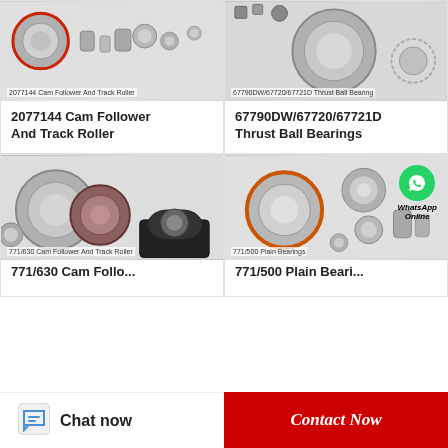[Figure (photo): Photo of 2077144 Cam Follower And Track Roller bearings, various sizes arranged on white background]
2077144 Cam Follower And Track Roller
2077144 Cam Follower And Track Roller
[Figure (photo): Photo of 67790DW/67720/67721D Thrust Ball Bearings, various sizes on white background]
67790DW/67720/67721D Thrust Ball Bearing
67790DW/67720/67720D Thrust Ball Bearings
[Figure (photo): Photo of 771/630 Cam Follower And Track Roller bearings including pillow block and ring bearings]
771/630 Cam Follower And Track Roller
771/630 Cam Follower...
[Figure (photo): Photo of 771/500 Plain Bearings with WhatsApp Online overlay icon, various ball bearings on white background]
771/500 Plain Bearings
771/500 Plain Bearings...
Chat now
Contact Now